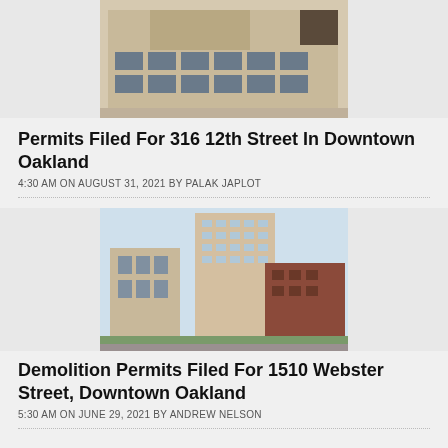[Figure (photo): Architectural rendering of a multi-story brick and glass building at 316 12th Street in Downtown Oakland]
Permits Filed For 316 12th Street In Downtown Oakland
4:30 AM ON AUGUST 31, 2021 BY PALAK JAPLOT
[Figure (photo): Architectural rendering of a tall modern residential tower at 1510 Webster Street in Downtown Oakland, surrounded by other buildings and street-level greenery]
Demolition Permits Filed For 1510 Webster Street, Downtown Oakland
5:30 AM ON JUNE 29, 2021 BY ANDREW NELSON